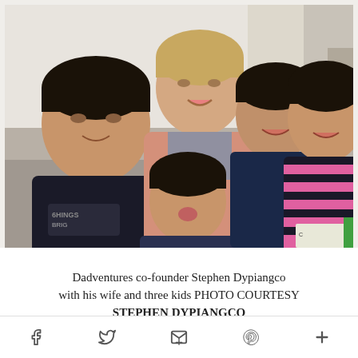[Figure (photo): Family photo: Dadventures co-founder Stephen Dypiangco taking a selfie with his wife and three children indoors. The family is smiling and close together.]
Dadventures co-founder Stephen Dypiangco with his wife and three kids PHOTO COURTESY STEPHEN DYPIANGCO
Stephen Dypiangco is co-founder and CEO of...
f  Twitter  Email  Pinterest  +